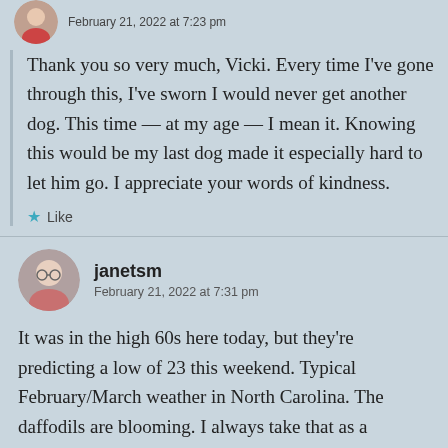February 21, 2022 at 7:23 pm
Thank you so very much, Vicki. Every time I've gone through this, I've sworn I would never get another dog. This time — at my age — I mean it. Knowing this would be my last dog made it especially hard to let him go. I appreciate your words of kindness.
Like
janetsm
February 21, 2022 at 7:31 pm
It was in the high 60s here today, but they're predicting a low of 23 this weekend. Typical February/March weather in North Carolina. The daffodils are blooming. I always take that as a